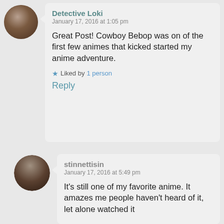[Figure (photo): Circular avatar of Detective Loki, showing a reddish-brown toned profile image]
Detective Loki
January 17, 2016 at 1:05 pm
Great Post! Cowboy Bebop was on of the first few animes that kicked started my anime adventure.
★ Liked by 1 person
Reply
[Figure (photo): Circular avatar of stinnettisin, showing a dark-toned portrait image]
stinnettisin
January 17, 2016 at 5:49 pm
It's still one of my favorite anime. It amazes me people haven't heard of it, let alone watched it